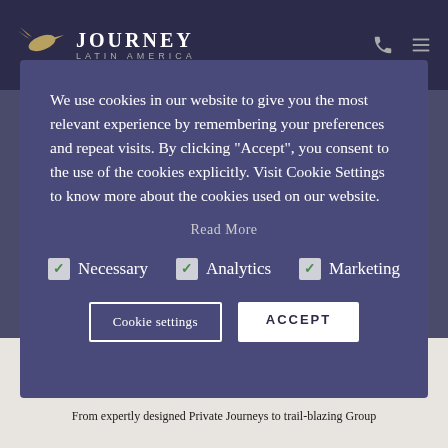Journey Latin America
We use cookies in our website to give you the most relevant experience by remembering your preferences and repeat visits. By clicking “Accept”, you consent to the use of the cookies explicitly. Visit Cookie Settings to know more about the cookies used on our website.
Read More
Necessary (checked)
Analytics (checked)
Marketing (checked)
Cookie settings | ACCEPT
HOLIDAYS SEE CONDORS FLY OVER THE COLCA CANYON
From expertly designed Private Journeys to trail-blazing Group